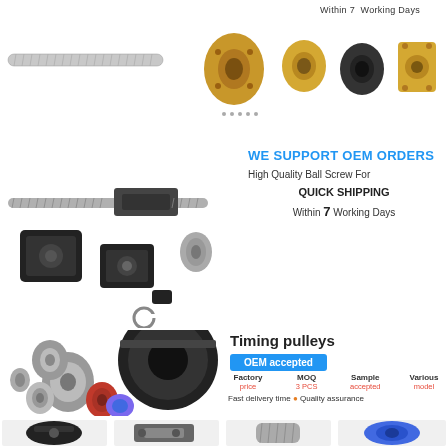Within 7  Working Days
[Figure (photo): Various CNC machine parts including lead screws, brass nuts, couplers, and bearing blocks on white background]
[Figure (photo): Ball screw assembly with bearing blocks, nuts, coupler, c-ring and small washer components on white background]
WE SUPPORT OEM ORDERS
High Quality Ball Screw For
QUICK SHIPPING
Within 7 Working Days
[Figure (photo): Timing pulleys and timing belts including various sizes, anodized colors, and timing belt rolls]
Timing pulleys
OEM accepted
Factory price | MOQ 3 PCS | Sample accepted | Various model
Fast delivery time • Quality assurance
[Figure (photo): Bottom strip showing four engineering components: black clamp, grey bracket, silver screw fitting, and blue connector]